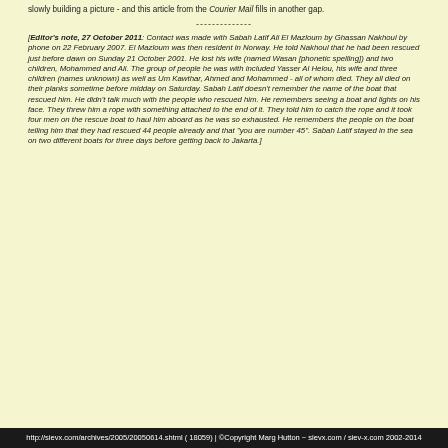slowly building a picture - and this article from the Courier Mail fills in another gap.
--------------
[Editor's note, 27 October 2011: Contact was made with Sabah Latif Ali El Mazloum by Ghassan Nakhoul by phone on 22 February 2007. El Mazloum was then resident in Norway. He told Nakhoul that he had been rescued just before dawn on Sunday 21 October 2001. He lost his wife (named Wasan [phonetic spelling]) and two children, Mohammed and Ali. The group of people he was with included Yasser Al Helou, his wife and three children (names unknown) as well as Um Kawthar, Ahmed and Mohammed - all of whom died. They all died on their planks sometime before midday on Saturday. Sabah Latif doesn't remember the name of the boat that rescued him. He didn't talk much with the people who rescued him. He remembers seeing a boat and lights on his face. They threw him a rope with something attached to the end of it. They told him to catch the rope and it took four men on the rescue boat to haul him aboard as he was so exhausted. He remembers the people on the boat telling him that they had rescued 44 people already and that "you are number 45". Sabah Latif stayed in the sea on two different boats for three days before getting back to Jakarta.]
http://sievx.com/archives/2005/20050614.shtml ( 18059) | ©Copyright Marg Hutton ~ sievx.com / siev-x.com 2002-2014